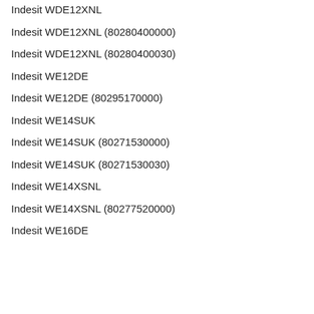Indesit WDE12XNL
Indesit WDE12XNL (80280400000)
Indesit WDE12XNL (80280400030)
Indesit WE12DE
Indesit WE12DE (80295170000)
Indesit WE14SUK
Indesit WE14SUK (80271530000)
Indesit WE14SUK (80271530030)
Indesit WE14XSNL
Indesit WE14XSNL (80277520000)
Indesit WE16DE